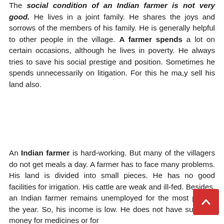The social condition of an Indian farmer is not very good. He lives in a joint family. He shares the joys and sorrows of the members of his family. He is generally helpful to other people in the village. A farmer spends a lot on certain occasions, although he lives in poverty. He always tries to save his social prestige and position. Sometimes he spends unnecessarily on litigation. For this he ma,y sell his land also.
An Indian farmer is hard-working. But many of the villagers do not get meals a day. A farmer has to face many problems. His land is divided into small pieces. He has no good facilities for irrigation. His cattle are weak and ill-fed. Besides, an Indian farmer remains unemployed for the most part of the year. So, his income is low. He does not have sufficient money for medicines or for